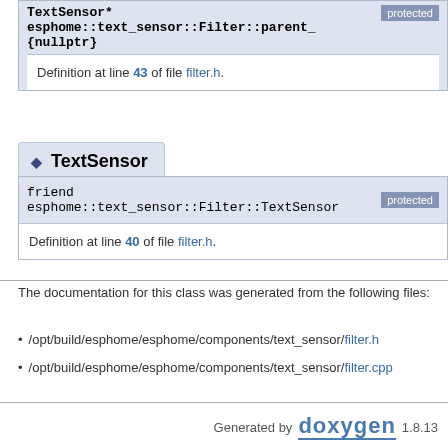TextSensor* esphome::text_sensor::Filter::parent_ {nullptr}
protected
Definition at line 43 of file filter.h.
TextSensor
friend esphome::text_sensor::Filter::TextSensor
protected
Definition at line 40 of file filter.h.
The documentation for this class was generated from the following files:
/opt/build/esphome/esphome/components/text_sensor/filter.h
/opt/build/esphome/esphome/components/text_sensor/filter.cpp
Generated by doxygen 1.8.13